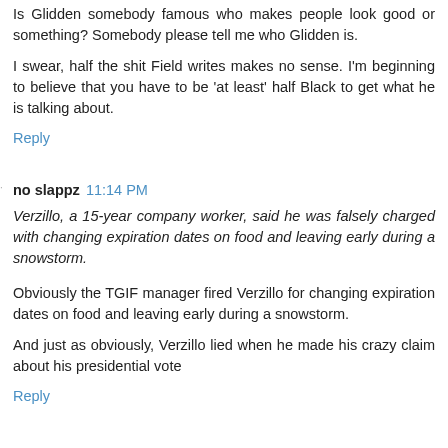Is Glidden somebody famous who makes people look good or something? Somebody please tell me who Glidden is.
I swear, half the shit Field writes makes no sense. I'm beginning to believe that you have to be 'at least' half Black to get what he is talking about.
Reply
no slappz  11:14 PM
Verzillo, a 15-year company worker, said he was falsely charged with changing expiration dates on food and leaving early during a snowstorm.
Obviously the TGIF manager fired Verzillo for changing expiration dates on food and leaving early during a snowstorm.
And just as obviously, Verzillo lied when he made his crazy claim about his presidential vote
Reply